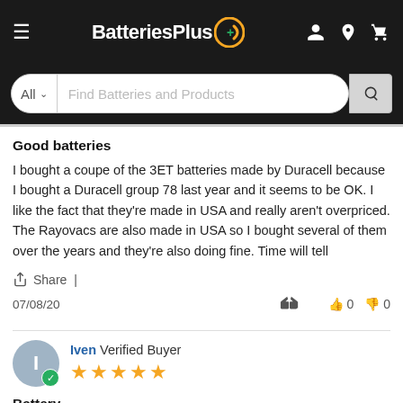[Figure (screenshot): BatteriesPlus website header with logo, hamburger menu, account, location, and cart icons on black background]
[Figure (screenshot): Search bar with All dropdown and Find Batteries and Products placeholder text, search button]
Good batteries
I bought a coupe of the 3ET batteries made by Duracell because I bought a Duracell group 78 last year and it seems to be OK. I like the fact that they're made in USA and really aren't overpriced. The Rayovacs are also made in USA so I bought several of them over the years and they're also doing fine. Time will tell
Share |
07/08/20   👍 0   👎 0
Iven Verified Buyer ★★★★★
Battery